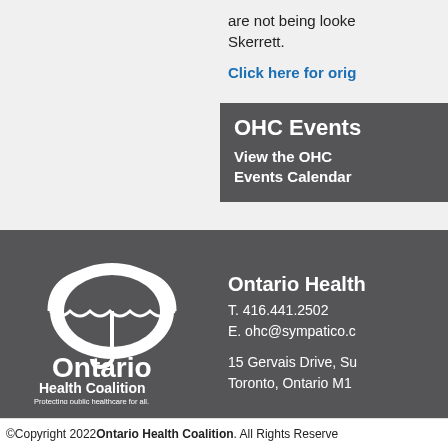are not being looked after. Skerrett.
Click here for original
OHC Events
View the OHC Events Calendar
[Figure (logo): Ontario Health Coalition logo — white umbrella above text reading 'Ontario Health Coalition. Protecting public healthcare for all.']
Ontario Health
T. 416.441.2502
E. ohc@sympatico.c

15 Gervais Drive, Su
Toronto, Ontario M1
©Copyright 2022 Ontario Health Coalition. All Rights Reserved.